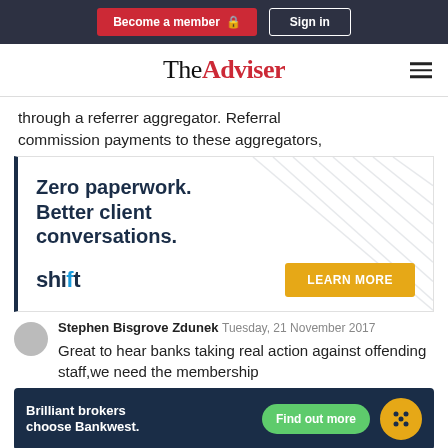Become a member | Sign in
TheAdviser
through a referrer aggregator. Referral commission payments to these aggregators,
[Figure (advertisement): Shift ad — Zero paperwork. Better client conversations. LEARN MORE]
Stephen Bisgrove Zdunek  Tuesday, 21 November 2017
Great to hear banks taking real action against offending staff,we need the membership
[Figure (advertisement): Bankwest ad — Brilliant brokers choose Bankwest. Find out more]
undesirable brokers. Let us not forget the story